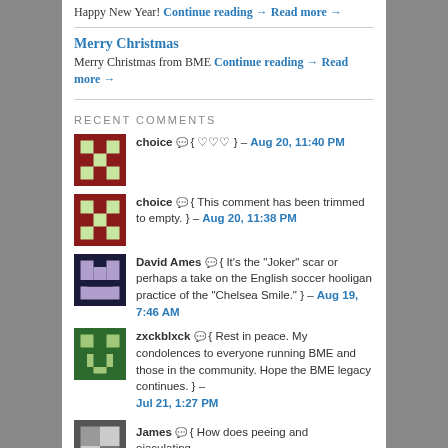Happy New Year! Continue reading → Read more →
Merry Christmas
Merry Christmas from BME Continue reading → Read more →
RECENT COMMENTS
choice 💬 { ♡♡♡ } – Aug 20, 11:40 PM
choice 💬 { This comment has been trimmed to empty. } – Aug 20, 11:38 PM
David Ames 💬 { It's the "Joker" scar or perhaps a take on the English soccer hooligan practice of the "Chelsea Smile." } – Aug 19, 7:46 AM
zxckblxck 💬 { Rest in peace. My condolences to everyone running BME and those in the community. Hope the BME legacy continues. } – Jul 21, 1:27 PM
James 💬 { How does peeing and ejaculating...